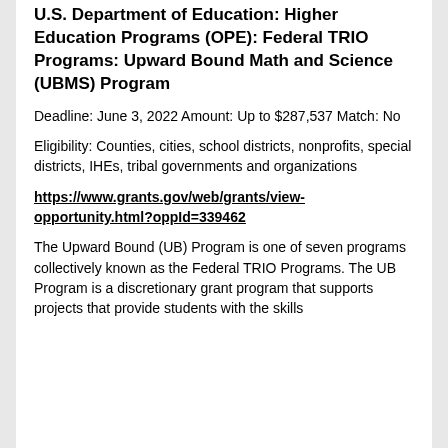U.S. Department of Education: Higher Education Programs (OPE): Federal TRIO Programs: Upward Bound Math and Science (UBMS) Program
Deadline: June 3, 2022 Amount: Up to $287,537 Match: No
Eligibility: Counties, cities, school districts, nonprofits, special districts, IHEs, tribal governments and organizations
https://www.grants.gov/web/grants/view-opportunity.html?oppId=339462
The Upward Bound (UB) Program is one of seven programs collectively known as the Federal TRIO Programs. The UB Program is a discretionary grant program that supports projects that provide students with the skills